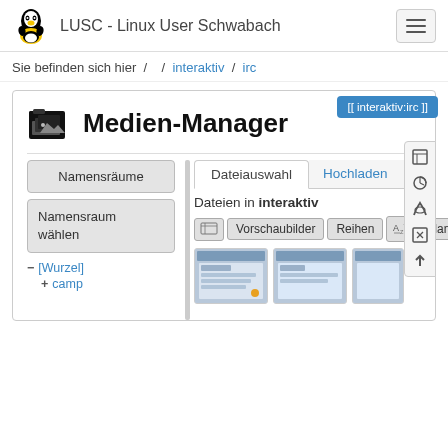LUSC - Linux User Schwabach
Sie befinden sich hier / / interaktiv / irc
[[ interaktiv:irc ]]
Medien-Manager
Namensräume
Namensraum wählen
- [Wurzel]
+ camp
Dateiauswahl   Hochladen
Dateien in interaktiv
Vorschaubilder   Reihen   Name